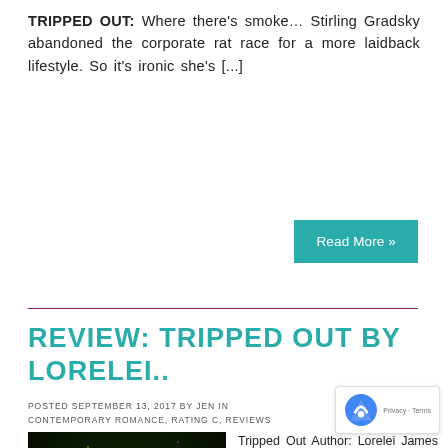TRIPPED OUT: Where there's smoke… Stirling Gradsky abandoned the corporate rat race for a more laidback lifestyle. So it's ironic she's [...]
Read More »
REVIEW: TRIPPED OUT BY LORELEI..
POSTED SEPTEMBER 13, 2017 BY JEN IN CONTEMPORARY ROMANCE, RATING C, REVIEWS
[Figure (illustration): Book cover for Tripped Out, part of 1001 Dark Nights series. Dark background with glowing green text reading 'DARK NIGHTS' with decorative elements.]
Tripped Out Author: Lorelei James Reviewer: Jen Rating: C- What I'm Talking About: After leaving her well corporate job, Gradsky took a chance and